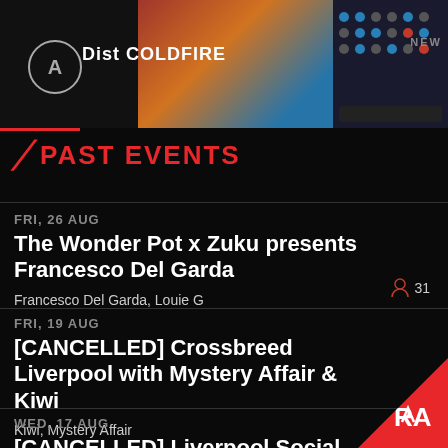[Figure (screenshot): Top banner with circular logo, 'Dist COLDFIRE' text, colorful images and NEW badge]
PAST EVENTS
FRI, 26 AUG
The Wonder Pot x Zuku presents Francesco Del Garda
Francesco Del Garda, Louie G   31
FRI, 19 AUG
[CANCELLED] Crossbreed Liverpool with Mystery Affair & Kiwi
Kiwi, Mystery Affair
WED, 17 AUG
[CANCELLED] Liverpool Social